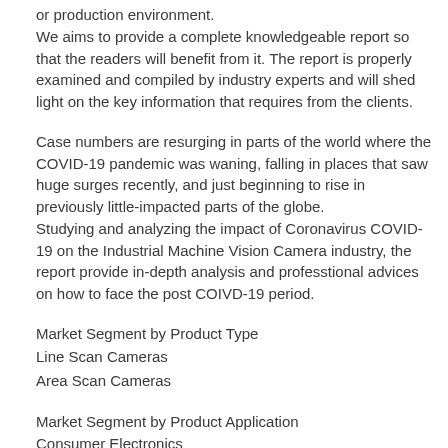or production environment.
We aims to provide a complete knowledgeable report so that the readers will benefit from it. The report is properly examined and compiled by industry experts and will shed light on the key information that requires from the clients.
Case numbers are resurging in parts of the world where the COVID-19 pandemic was waning, falling in places that saw huge surges recently, and just beginning to rise in previously little-impacted parts of the globe.
Studying and analyzing the impact of Coronavirus COVID-19 on the Industrial Machine Vision Camera industry, the report provide in-depth analysis and professtional advices on how to face the post COIVD-19 period.
Market Segment by Product Type
Line Scan Cameras
Area Scan Cameras
Market Segment by Product Application
Consumer Electronics
Medical and Health Care
Food and Beverage
Automotive